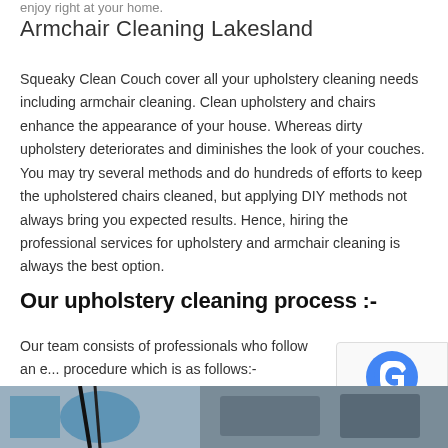enjoy right at your home.
Armchair Cleaning Lakesland
Squeaky Clean Couch cover all your upholstery cleaning needs including armchair cleaning. Clean upholstery and chairs enhance the appearance of your house. Whereas dirty upholstery deteriorates and diminishes the look of your couches. You may try several methods and do hundreds of efforts to keep the upholstered chairs cleaned, but applying DIY methods not always bring you expected results. Hence, hiring the professional services for upholstery and armchair cleaning is always the best option.
Our upholstery cleaning process :-
Our team consists of professionals who follow an e... procedure which is as follows:-
[Figure (photo): Two photos at the bottom of the page showing cleaning-related images, partially visible.]